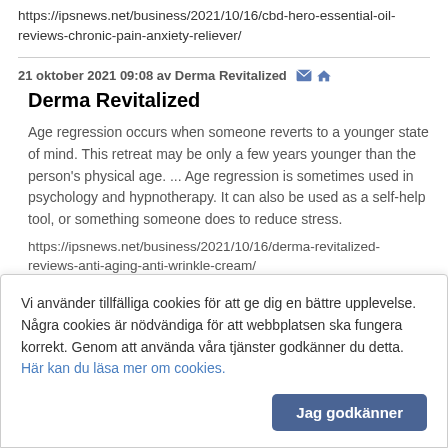https://ipsnews.net/business/2021/10/16/cbd-hero-essential-oil-reviews-chronic-pain-anxiety-reliever/
21 oktober 2021 09:08 av Derma Revitalized
Derma Revitalized
Age regression occurs when someone reverts to a younger state of mind. This retreat may be only a few years younger than the person's physical age. ... Age regression is sometimes used in psychology and hypnotherapy. It can also be used as a self-help tool, or something someone does to reduce stress.
https://ipsnews.net/business/2021/10/16/derma-revitalized-reviews-anti-aging-anti-wrinkle-cream/
21 oktober 2021 09:24 av Java Burn
Vi använder tillfälliga cookies för att ge dig en bättre upplevelse. Några cookies är nödvändiga för att webbplatsen ska fungera korrekt. Genom att använda våra tjänster godkänner du detta. Här kan du läsa mer om cookies.